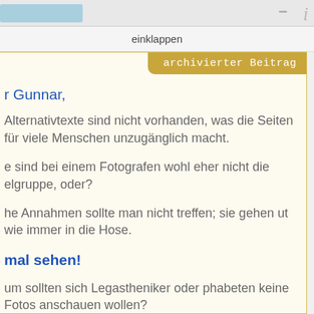einklappen
[Figure (screenshot): Archived post badge reading 'archivierter Beitrag' in gold/tan color on top right of content box]
r Gunnar,
Alternativtexte sind nicht vorhanden, was die Seiten für viele Menschen unzugänglich macht.
e sind bei einem Fotografen wohl eher nicht die elgruppe, oder?
he Annahmen sollte man nicht treffen; sie gehen ut wie immer in die Hose.
mal sehen!
um sollten sich Legastheniker oder phabeten keine Fotos anschauen wollen?